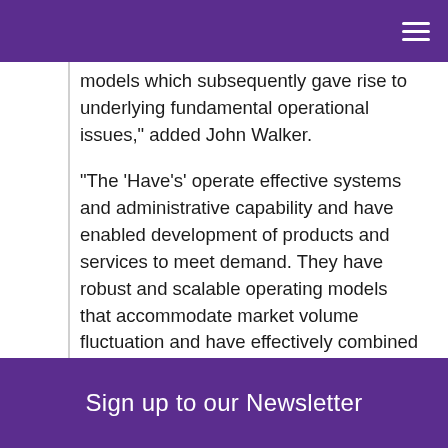models which subsequently gave rise to underlying fundamental operational issues," added John Walker.
"The ‘Have’s’ operate effective systems and administrative capability and have enabled development of products and services to meet demand. They have robust and scalable operating models that accommodate market volume fluctuation and have effectively combined insource/outsource arrangements. Additionally, they’ve accommodated the idea of future National and European legislation as well as ongoing changes to compliance rules. The ‘Have Not’s’ fail
Sign up to our Newsletter